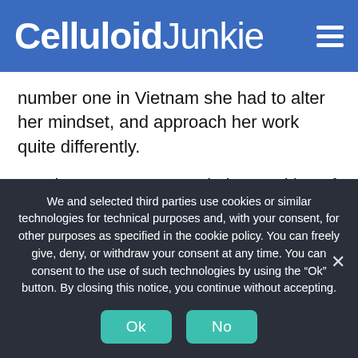CelluloidJunkie
number one in Vietnam she had to alter her mindset, and approach her work quite differently.
Coming up to two years in her position of Chief Executive for Cinepax, the road has been rough at times but her past invaluable experiences and sheer determination have done her well. She enjoys being hands on, engaging with the direction of the business and certainly doesn't shy
We and selected third parties use cookies or similar technologies for technical purposes and, with your consent, for other purposes as specified in the cookie policy. You can freely give, deny, or withdraw your consent at any time. You can consent to the use of such technologies by using the “Ok” button. By closing this notice, you continue without accepting.